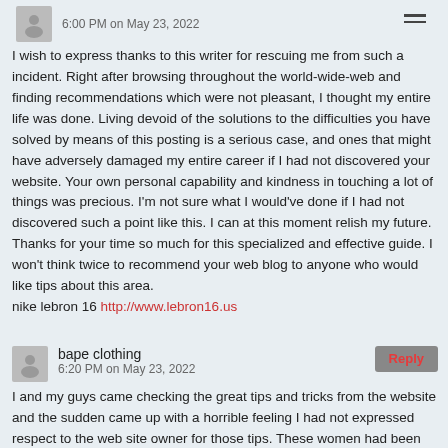6:00 PM on May 23, 2022
I wish to express thanks to this writer for rescuing me from such a incident. Right after browsing throughout the world-wide-web and finding recommendations which were not pleasant, I thought my entire life was done. Living devoid of the solutions to the difficulties you have solved by means of this posting is a serious case, and ones that might have adversely damaged my entire career if I had not discovered your website. Your own personal capability and kindness in touching a lot of things was precious. I'm not sure what I would've done if I had not discovered such a point like this. I can at this moment relish my future. Thanks for your time so much for this specialized and effective guide. I won't think twice to recommend your web blog to anyone who would like tips about this area. nike lebron 16 http://www.lebron16.us
bape clothing
6:20 PM on May 23, 2022
I and my guys came checking the great tips and tricks from the website and the sudden came up with a horrible feeling I had not expressed respect to the web site owner for those tips. These women had been absolutely happy to study all of them and have in effect undoubtedly been loving them. I appreciate you for being so accommodating as well as for obtaining this sort of nice things millions of individuals are really needing to understand about. My very own honest apologies for not expressing appreciation to sooner. bape clothing http://www.bapesonline.com